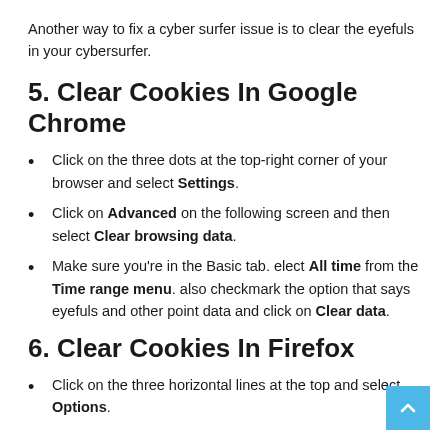Another way to fix a cyber surfer issue is to clear the eyefuls in your cybersurfer.
5. Clear Cookies In Google Chrome
Click on the three dots at the top-right corner of your browser and select Settings.
Click on Advanced on the following screen and then select Clear browsing data.
Make sure you're in the Basic tab. elect All time from the Time range menu. also checkmark the option that says eyefuls and other point data and click on Clear data.
6. Clear Cookies In Firefox
Click on the three horizontal lines at the top and select Options.